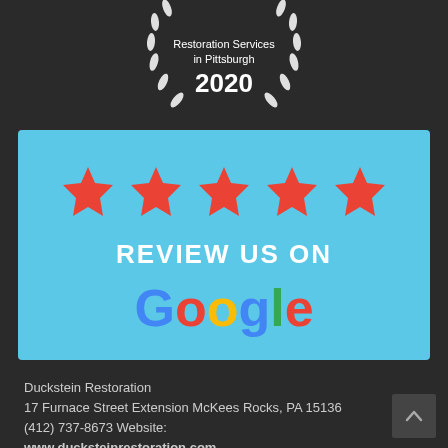[Figure (logo): Award badge with laurel wreath showing 'Restoration Services in Pittsburgh 2020']
[Figure (infographic): Five red stars above text 'REVIEW US ON Google' on a light blue background — a Google review call-to-action graphic.]
Duckstein Restoration
17 Furnace Street Extension McKees Rocks, PA 15136
(412) 737-8673 Website: www.ducksteinrestoration.com